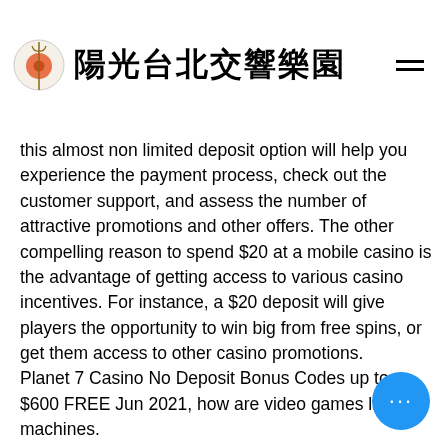陽光台北交響樂園
video
everal
m
ing
this almost non limited deposit option will help you experience the payment process, check out the customer support, and assess the number of attractive promotions and other offers. The other compelling reason to spend $20 at a mobile casino is the advantage of getting access to various casino incentives. For instance, a $20 deposit will give players the opportunity to win big from free spins, or get them access to other casino promotions.
Planet 7 Casino No Deposit Bonus Codes up to $600 FREE Jun 2021, how are video games like slot machines.
But is it all worth it, how are video games like slot machines. The short answer is Yes, deposit bonuses give you the perfect opportunity to test out the casino before you